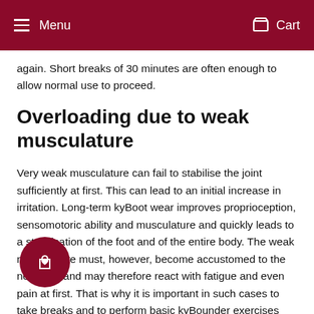Menu  Cart
again. Short breaks of 30 minutes are often enough to allow normal use to proceed.
Overloading due to weak musculature
Very weak musculature can fail to stabilise the joint sufficiently at first. This can lead to an initial increase in irritation. Long-term kyBoot wear improves proprioception, sensomotoric ability and musculature and quickly leads to a stabilisation of the foot and of the entire body. The weak musculature must, however, become accustomed to the new load and may therefore react with fatigue and even pain at first. That is why it is important in such cases to take breaks and to perform basic kyBounder exercises and special kyBoot exercises to counteract these reactions.